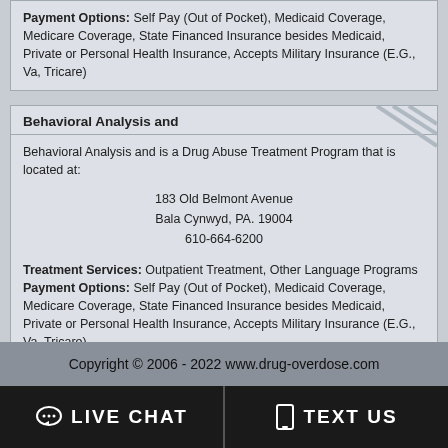Payment Options: Self Pay (Out of Pocket), Medicaid Coverage, Medicare Coverage, State Financed Insurance besides Medicaid, Private or Personal Health Insurance, Accepts Military Insurance (E.G., Va, Tricare)
Behavioral Analysis and
Behavioral Analysis and is a Drug Abuse Treatment Program that is located at:
183 Old Belmont Avenue
Bala Cynwyd, PA. 19004
610-664-6200
Treatment Services: Outpatient Treatment, Other Language Programs
Payment Options: Self Pay (Out of Pocket), Medicaid Coverage, Medicare Coverage, State Financed Insurance besides Medicaid, Private or Personal Health Insurance, Accepts Military Insurance (E.G., Va, Tricare)
Copyright © 2006 - 2022 www.drug-overdose.com
LIVE CHAT
TEXT US